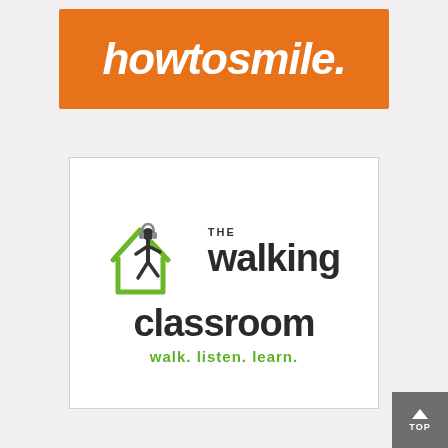[Figure (logo): HowToSmile logo on orange background — italic bold white text reading 'howtosmile.']
[Figure (logo): The Walking Classroom logo: green house outline with walking person wearing headphones, text 'THE walking classroom' and tagline 'walk. listen. learn.' in green]